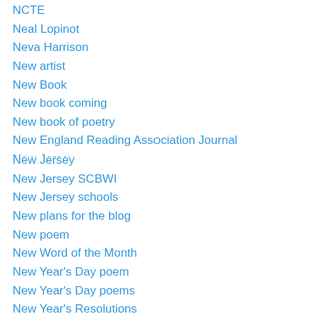NCTE
Neal Lopinot
Neva Harrison
New artist
New Book
New book coming
New book of poetry
New England Reading Association Journal
New Jersey
New Jersey SCBWI
New Jersey schools
New plans for the blog
New poem
New Word of the Month
New Year's Day poem
New Year's Day poems
New Year's Resolutions
New York City
New York Times
Nicholas Inman